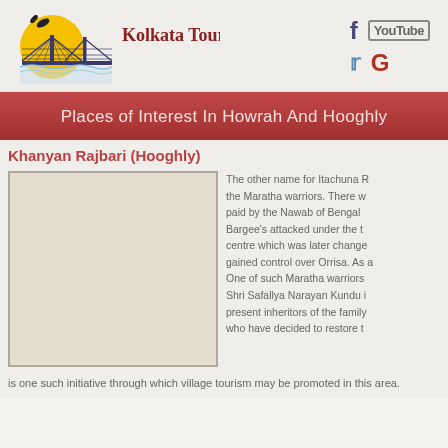Kolkata Tours
Places of Interest In Howrah And Hooghly
Khanyan Rajbari (Hooghly)
[Figure (photo): Photograph placeholder for Khanyan Rajbari]
The other name for Itachuna R... the Maratha warriors. There w... paid by the Nawab of Bengal... Bargee's attacked under the t... centre which was later change... gained control over Orrisa. As a... One of such Maratha warriors... Shri Safallya Narayan Kundu i... present inheritors of the family... who have decided to restore t...
is one such initiative through which village tourism may be promoted in this area.